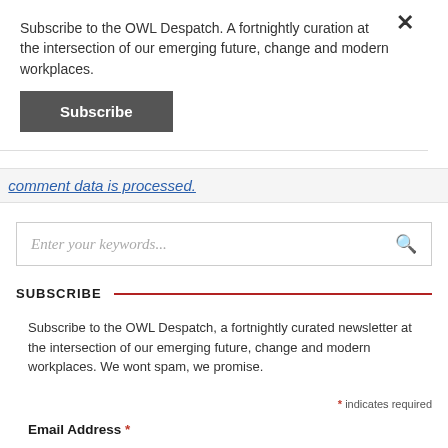Subscribe to the OWL Despatch. A fortnightly curation at the intersection of our emerging future, change and modern workplaces.
Subscribe
comment data is processed.
Enter your keywords...
SUBSCRIBE
Subscribe to the OWL Despatch, a fortnightly curated newsletter at the intersection of our emerging future, change and modern workplaces. We wont spam, we promise.
* indicates required
Email Address *